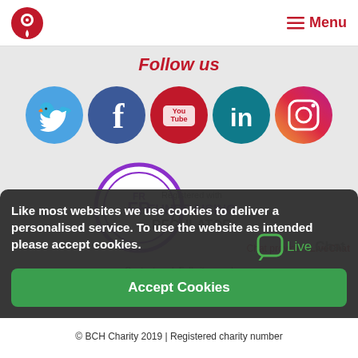BCH Charity logo | Menu
Follow us
[Figure (infographic): Five social media icons in circles: Twitter (light blue), Facebook (dark blue), YouTube (red), LinkedIn (teal), Instagram (purple-orange gradient)]
[Figure (logo): Fundraising Regulator badge: circular FR logo with text 'Registered with FUNDRAISING REGULATOR']
Contact us | Full sitemap | Terms and conditions | Accessibility | Privacy policy | Complaints Procedure
Chat provider: LiveChat
Like most websites we use cookies to deliver a personalised service. To use the website as intended please accept cookies.
[Figure (logo): LiveChat logo with green speech bubble icon and 'LiveChat' text]
© BCH Charity 2019 | Registered charity number